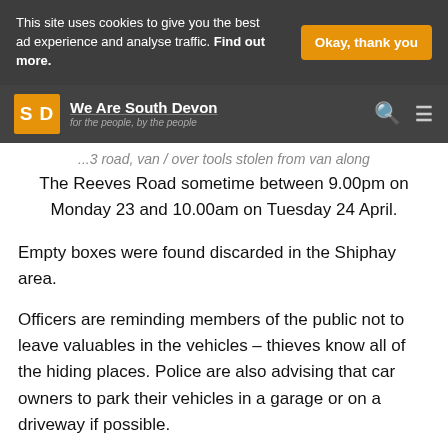This site uses cookies to give you the best ad experience and analyse traffic. Find out more.
Okay, thank you
We Are South Devon — for the people, by the people
The Reeves Road sometime between 9.00pm on Monday 23 and 10.00am on Tuesday 24 April.
Empty boxes were found discarded in the Shiphay area.
Officers are reminding members of the public not to leave valuables in the vehicles – thieves know all of the hiding places. Police are also advising that car owners to park their vehicles in a garage or on a driveway if possible.